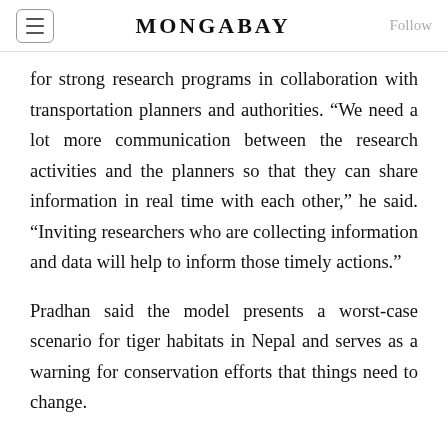MONGABAY
for strong research programs in collaboration with transportation planners and authorities. “We need a lot more communication between the research activities and the planners so that they can share information in real time with each other,” he said. “Inviting researchers who are collecting information and data will help to inform those timely actions.”
Pradhan said the model presents a worst-case scenario for tiger habitats in Nepal and serves as a warning for conservation efforts that things need to change.